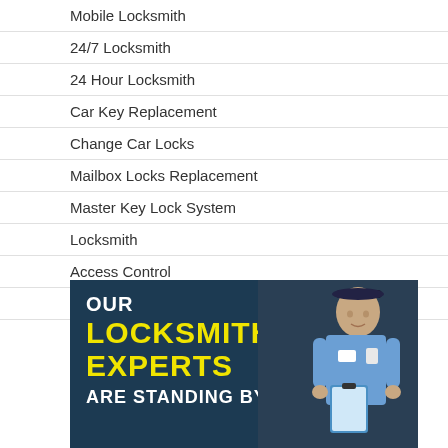Mobile Locksmith
24/7 Locksmith
24 Hour Locksmith
Car Key Replacement
Change Car Locks
Mailbox Locks Replacement
Master Key Lock System
Locksmith
Access Control
Contact Us
[Figure (illustration): Dark navy banner with bold text reading OUR LOCKSMITH EXPERTS ARE STANDING BY, with a photo of a locksmith technician in a blue uniform holding a clipboard on the right side.]